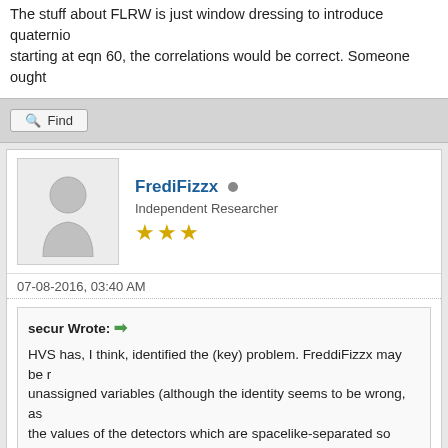The stuff about FLRW is just window dressing to introduce quaternions starting at eqn 60, the correlations would be correct. Someone ought
Find
FrediFizzx
Independent Researcher
★★★
07-08-2016, 03:40 AM
secur Wrote:
HVS has, I think, identified the (key) problem. FreddiFizzx may be r unassigned variables (although the identity seems to be wrong, as the values of the detectors which are spacelike-separated so (one v
If this paper were cleaned up it could be a perfectly valid treatment assumed "hidden variable", namely, the spin direction vector which complementary particles are detected we must assume they non-lo to their local setting. The result is either +1 or -1 depending on the a
The stuff about FLRW is just window dressing to introduce quaternio